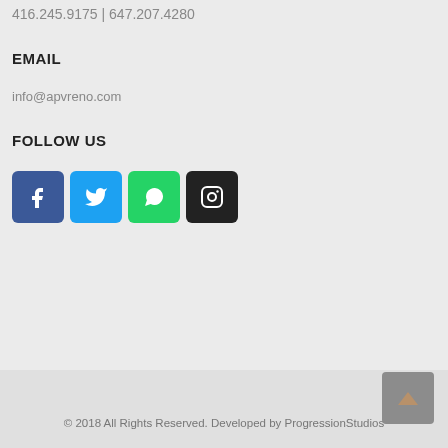416.245.9175 | 647.207.4280
EMAIL
info@apvreno.com
FOLLOW US
[Figure (other): Social media icons: Facebook (blue), Twitter (light blue), WhatsApp (green), Instagram (black)]
© 2018 All Rights Reserved. Developed by ProgressionStudios